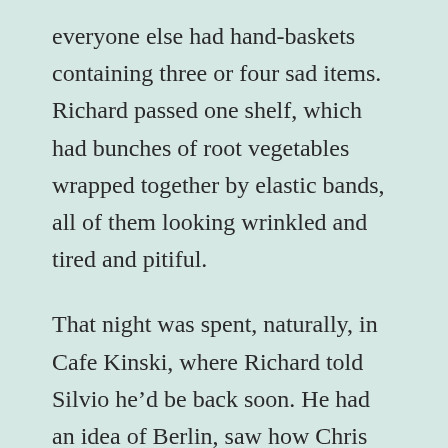everyone else had hand-baskets containing three or four sad items. Richard passed one shelf, which had bunches of root vegetables wrapped together by elastic bands, all of them looking wrinkled and tired and pitiful.
That night was spent, naturally, in Cafe Kinski, where Richard told Silvio he’d be back soon. He had an idea of Berlin, saw how Chris lived and planned to return.
He had travelled around on his own, while Chris worked, and knew the U-Bahn system, could buy a cheap snack at an Imbiss and had